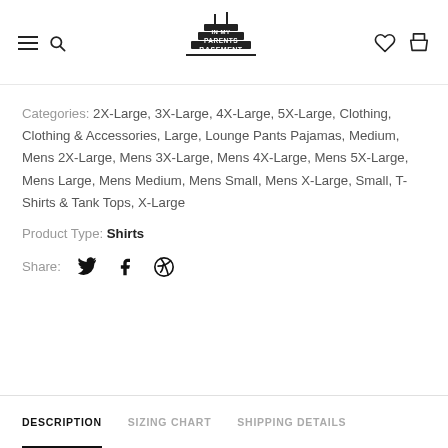In My Parents Basement — navigation header with hamburger menu, search, logo, wishlist, cart
Categories: 2X-Large, 3X-Large, 4X-Large, 5X-Large, Clothing, Clothing & Accessories, Large, Lounge Pants Pajamas, Medium, Mens 2X-Large, Mens 3X-Large, Mens 4X-Large, Mens 5X-Large, Mens Large, Mens Medium, Mens Small, Mens X-Large, Small, T-Shirts & Tank Tops, X-Large
Product Type: Shirts
Share: [Twitter] [Facebook] [Pinterest]
DESCRIPTION | SIZING CHART | SHIPPING DETAILS